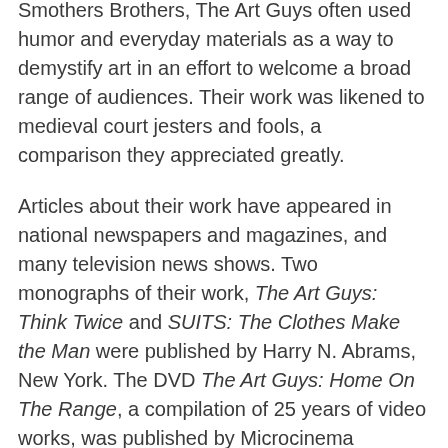Smothers Brothers, The Art Guys often used humor and everyday materials as a way to demystify art in an effort to welcome a broad range of audiences. Their work was likened to medieval court jesters and fools, a comparison they appreciated greatly.
Articles about their work have appeared in national newspapers and magazines, and many television news shows. Two monographs of their work, The Art Guys: Think Twice and SUITS: The Clothes Make the Man were published by Harry N. Abrams, New York. The DVD The Art Guys: Home On The Range, a compilation of 25 years of video works, was published by Microcinema International.
The Art Guys' work has been included in more than 150 exhibitions in museums,